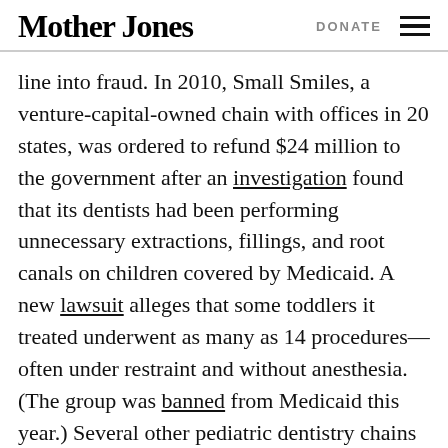Mother Jones | DONATE
line into fraud. In 2010, Small Smiles, a venture-capital-owned chain with offices in 20 states, was ordered to refund $24 million to the government after an investigation found that its dentists had been performing unnecessary extractions, fillings, and root canals on children covered by Medicaid. A new lawsuit alleges that some toddlers it treated underwent as many as 14 procedures—often under restraint and without anesthesia. (The group was banned from Medicaid this year.) Several other pediatric dentistry chains have been sued over similar allegations.
So what should you watch out for when you go for